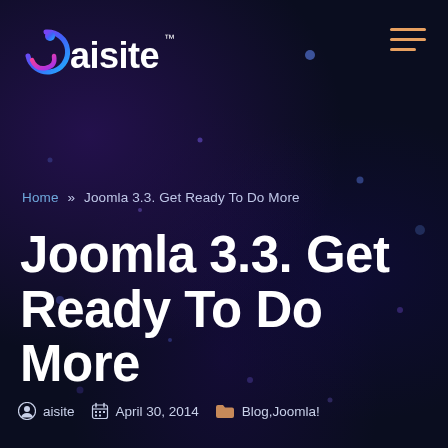[Figure (logo): aisite logo with colorful swirl icon and white text, TM superscript]
Home » Joomla 3.3. Get Ready To Do More
Joomla 3.3. Get Ready To Do More
aisite   April 30, 2014   Blog,Joomla!